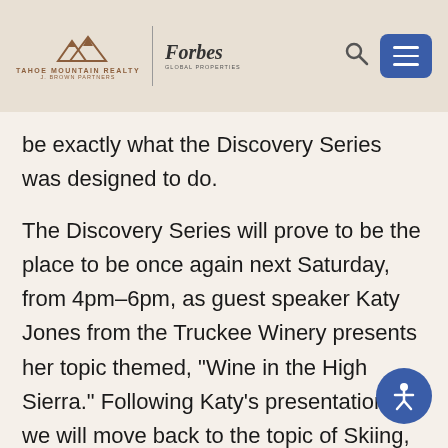[Figure (logo): Tahoe Mountain Realty J. Brown Partners logo with mountain icon, divider line, and Forbes Global Properties logo]
be exactly what the Discovery Series was designed to do.
The Discovery Series will prove to be the place to be once again next Saturday, from 4pm-6pm, as guest speaker Katy Jones from the Truckee Winery presents her topic themed, “Wine in the High Sierra.” Following Katy’s presentation, we will move back to the topic of Skiing,